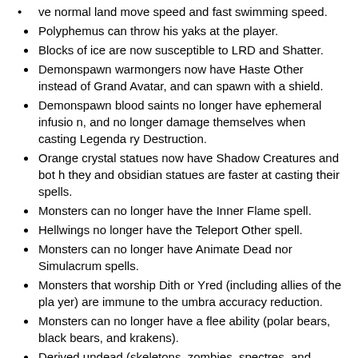ve normal land move speed and fast swimming speed.
Polyphemus can throw his yaks at the player.
Blocks of ice are now susceptible to LRD and Shatter.
Demonspawn warmongers now have Haste Other instead of Grand Avatar, and can spawn with a shield.
Demonspawn blood saints no longer have ephemeral infusion, and no longer damage themselves when casting Legendary Destruction.
Orange crystal statues now have Shadow Creatures and both they and obsidian statues are faster at casting their spells.
Monsters can no longer have the Inner Flame spell.
Hellwings no longer have the Teleport Other spell.
Monsters can no longer have Animate Dead nor Simulacrum spells.
Monsters that worship Dith or Yred (including allies of the player) are immune to the umbra accuracy reduction.
Monsters can no longer have a flee ability (polar bears, black bears, and krakens).
Derived undead (skeletons, zombies, spectres, and simulacra) now do 80% of the damage of the base monster and inherit the energy use pattern of the base monster.
Derived undead created by spells or items are temporary, falling apart after some time. Yredelemnul still creates permanent undead.